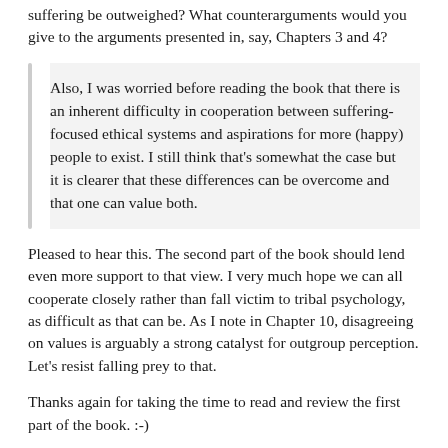suffering be outweighed? What counterarguments would you give to the arguments presented in, say, Chapters 3 and 4?
Also, I was worried before reading the book that there is an inherent difficulty in cooperation between suffering-focused ethical systems and aspirations for more (happy) people to exist. I still think that's somewhat the case but it is clearer that these differences can be overcome and that one can value both.
Pleased to hear this. The second part of the book should lend even more support to that view. I very much hope we can all cooperate closely rather than fall victim to tribal psychology, as difficult as that can be. As I note in Chapter 10, disagreeing on values is arguably a strong catalyst for outgroup perception. Let's resist falling prey to that.
Thanks again for taking the time to read and review the first part of the book. :-)